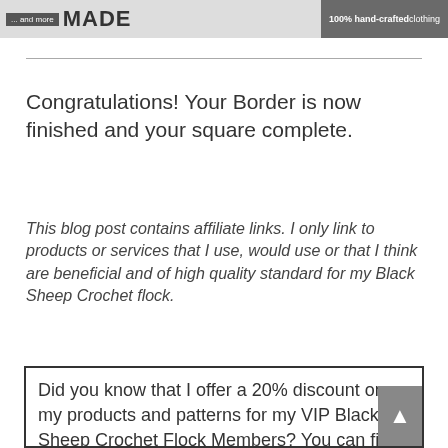[Figure (other): Banner image with text '... and more MADE' on left and '100% hand-crafted clothing' on right, with decorative background image of clothing/fabric]
Congratulations! Your Border is now finished and your square complete.
This blog post contains affiliate links. I only link to products or services that I use, would use or that I think are beneficial and of high quality standard for my Black Sheep Crochet flock.
Did you know that I offer a 20% discount on my products and patterns for my VIP Black Sheep Crochet Flock Members? You can find a